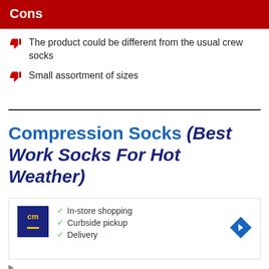Cons
The product could be different from the usual crew socks
Small assortment of sizes
Compression Socks (Best Work Socks For Hot Weather)
[Figure (other): Advertisement box with cm logo, checkmarks for In-store shopping, Curbside pickup, Delivery, and a navigation arrow icon]